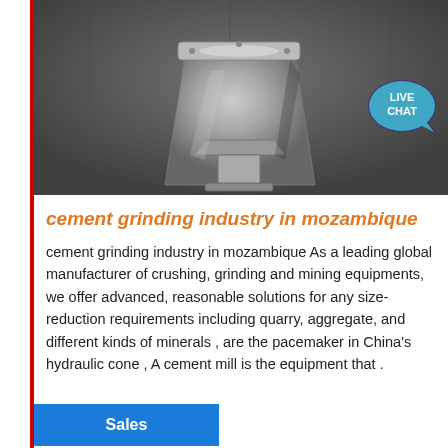[Figure (photo): Black and white photograph of industrial grinding/milling equipment — a large metal cone-shaped crusher component, centered, with mechanical fittings visible below it, against a dark textured background.]
cement grinding industry in mozambique
cement grinding industry in mozambique As a leading global manufacturer of crushing, grinding and mining equipments, we offer advanced, reasonable solutions for any size-reduction requirements including quarry, aggregate, and different kinds of minerals , are the pacemaker in China's hydraulic cone , A cement mill is the equipment that .
Sales